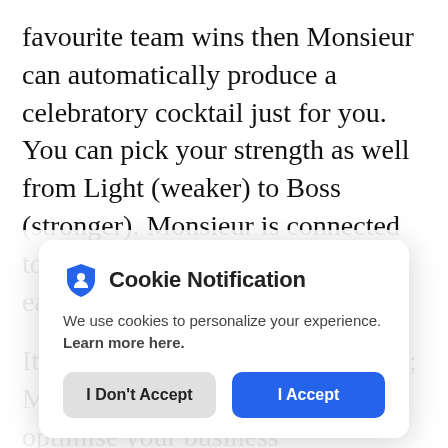favourite team wins then Monsieur can automatically produce a celebratory cocktail just for you. You can pick your strength as well from Light (weaker) to Boss (stronger). Monsieur is connected to the cloud so new recipes can easily be added to the repertoire.

It's perfect for restaurants and bars; Monsieur helps automate and optimise your business
[Figure (screenshot): Cookie Notification modal dialog with shield icon, text 'We use cookies to personalize your experience. Learn more here.', and two buttons: 'I Don't Accept' (grey) and 'I Accept' (blue).]